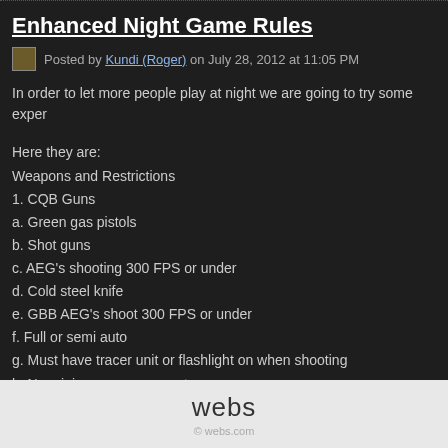Enhanced Night Game Rules
Posted by Kundi (Roger) on July 28, 2012 at 11:05 PM
In order to let more people play at night we are going to try some exper...
Here they are:
Weapons and Restrictions
1. CQB Guns
a. Green gas pistols
b. Shot guns
c. AEG's shooting 300 FPS or under
d. Cold steel knife
e. GBB AEG's shoot 300 FPS or under
f. Full or semi auto
g. Must have tracer unit or flashlight on when shooting
h. No minimum engagement
webs